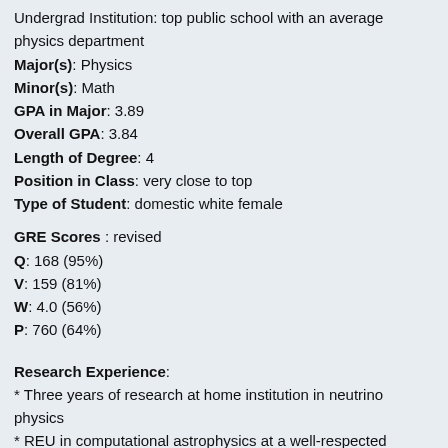Undergrad Institution: top public school with an average physics department
Major(s): Physics
Minor(s): Math
GPA in Major: 3.89
Overall GPA: 3.84
Length of Degree: 4
Position in Class: very close to top
Type of Student: domestic white female
GRE Scores : revised
Q: 168 (95%)
V: 159 (81%)
W: 4.0 (56%)
P: 760 (64%)
Research Experience:
* Three years of research at home institution in neutrino physics
* REU in computational astrophysics at a well-respected institution, resulted in AAS poster
* REU abroad in gravitational wave astronomy, resulted in conference paper
* Caltech SURF in gravitational wave astronomy